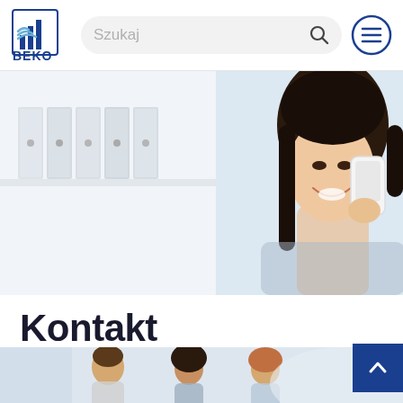BEKO - Szukaj
[Figure (photo): Young smiling woman with dark hair talking on a white telephone, office shelves with folders in background]
Kontakt
[Figure (photo): Group of people in an office or team setting, partially visible at bottom of page]